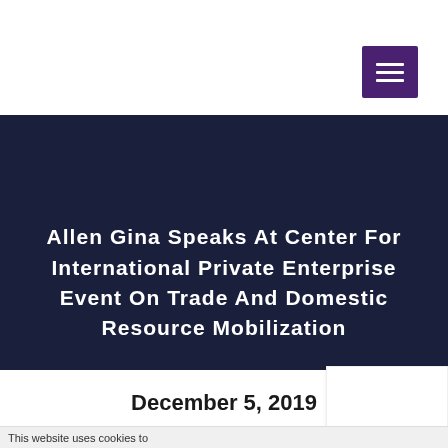[Figure (other): Hamburger menu button icon with three horizontal white lines on a dark purple square background]
Allen Gina Speaks At Center For International Private Enterprise Event On Trade And Domestic Resource Mobilization
December 5, 2019
This website uses cookies to